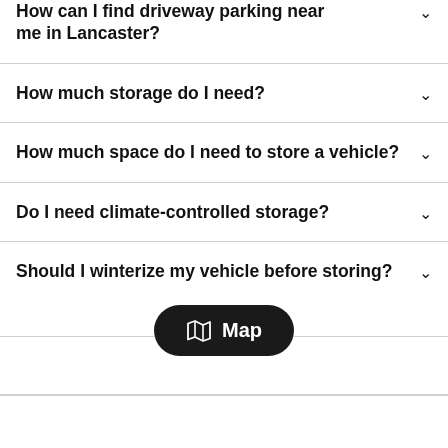How can I find driveway parking near me in Lancaster?
How much storage do I need?
How much space do I need to store a vehicle?
Do I need climate-controlled storage?
Should I winterize my vehicle before storing?
[Figure (other): Black rounded rectangle button with map icon and text 'Map']